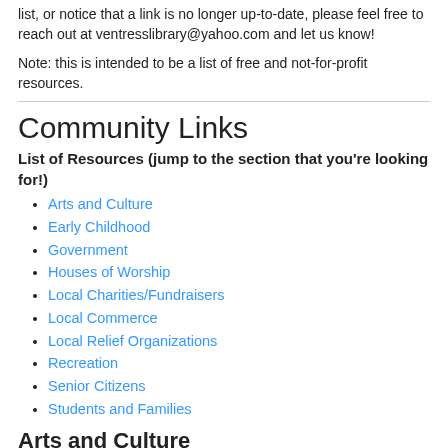list, or notice that a link is no longer up-to-date, please feel free to reach out at ventresslibrary@yahoo.com and let us know!
Note: this is intended to be a list of free and not-for-profit resources.
Community Links
List of Resources (jump to the section that you're looking for!)
Arts and Culture
Early Childhood
Government
Houses of Worship
Local Charities/Fundraisers
Local Commerce
Local Relief Organizations
Recreation
Senior Citizens
Students and Families
Arts and Culture
Daniel Webster Estate
Marshfield Community Television